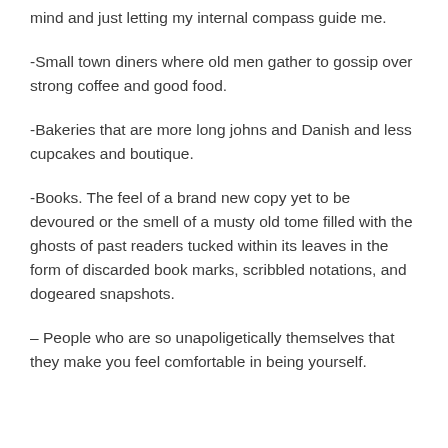mind and just letting my internal compass guide me.
-Small town diners where old men gather to gossip over strong coffee and good food.
-Bakeries that are more long johns and Danish and less cupcakes and boutique.
-Books. The feel of a brand new copy yet to be devoured or the smell of a musty old tome filled with the ghosts of past readers tucked within its leaves in the form of discarded book marks, scribbled notations, and dogeared snapshots.
– People who are so unapoligetically themselves that they make you feel comfortable in being yourself.